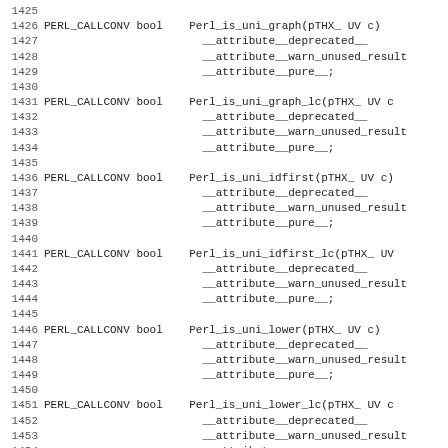Source code listing lines 1425-1457 showing PERL_CALLCONV bool function declarations for Perl_is_uni_graph, Perl_is_uni_graph_lc, Perl_is_uni_idfirst, Perl_is_uni_idfirst_lc, Perl_is_uni_lower, Perl_is_uni_lower_lc, Perl_is_uni_print with __attribute__deprecated__, __attribute__warn_unused_result, __attribute__pure__ annotations